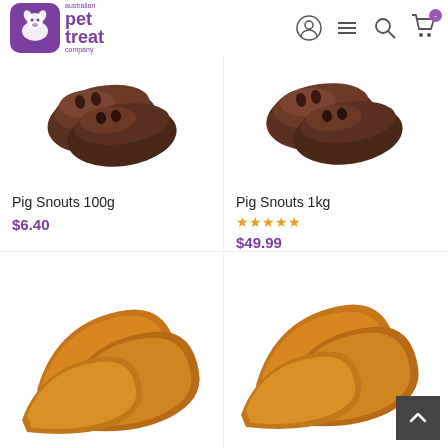[Figure (logo): Australian Pet Treat Company logo - purple rounded square icon with dog/cat silhouette, and brand name text]
Pig Snouts 100g
$6.40
Pig Snouts 1kg
★★★★★
$49.99
[Figure (photo): Pig snouts dog treats (two brown pieces) - product photo top left]
[Figure (photo): Pig snouts dog treats (two brown pieces) - product photo top right]
[Figure (photo): Pig ears dog treats (golden brown, multiple pieces) - product photo bottom left]
[Figure (photo): Pig ears dog treats (golden brown, multiple pieces) - product photo bottom right]